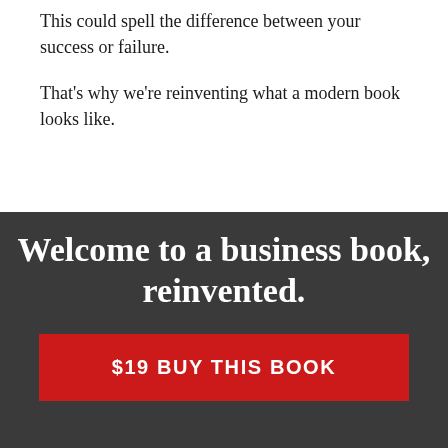This could spell the difference between your success or failure.
That's why we're reinventing what a modern book looks like.
Welcome to a business book, reinvented.
$19 BUY THIS BOOK